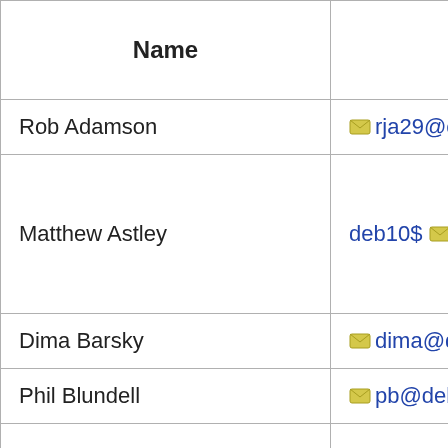| Name | E-Mail |
| --- | --- |
| Rob Adamson | rja29@cam.ac… |
| Matthew Astley | deb10$ mca@… |
| Dima Barsky | dima@debian.… |
| Phil Blundell | pb@debian.or… |
| Simon Booth | debparty@linnorm… |
| Regis Boudin | boudinr@esie… |